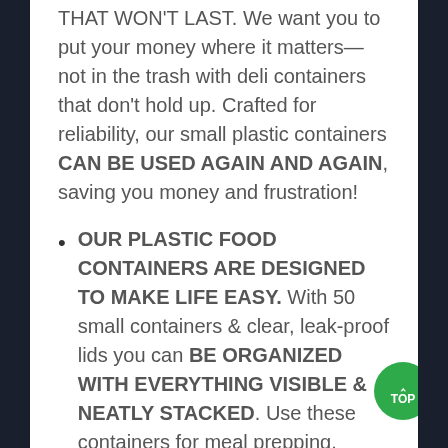THAT WON'T LAST. We want you to put your money where it matters—not in the trash with deli containers that don't hold up. Crafted for reliability, our small plastic containers CAN BE USED AGAIN AND AGAIN, saving you money and frustration!
OUR PLASTIC FOOD CONTAINERS ARE DESIGNED TO MAKE LIFE EASY. With 50 small containers & clear, leak-proof lids you can BE ORGANIZED WITH EVERYTHING VISIBLE & NEATLY STACKED. Use these containers for meal prepping, school lunches, last night's dinner!
WE BELIEVE YOUR FOOD ISN'T SOMETHING YOU SHOULD WORRY ABOUT. The less you have to worry...